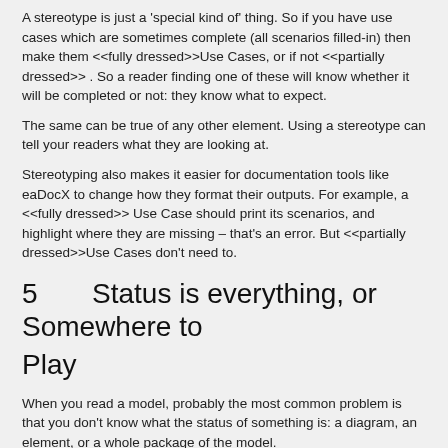A stereotype is just a 'special kind of' thing. So if you have use cases which are sometimes complete (all scenarios filled-in) then make them <<fully dressed>>Use Cases, or if not <<partially dressed>> . So a reader finding one of these will know whether it will be completed or not: they know what to expect.
The same can be true of any other element. Using a stereotype can tell your readers what they are looking at.
Stereotyping also makes it easier for documentation tools like eaDocX to change how they format their outputs. For example, a <<fully dressed>> Use Case should print its scenarios, and highlight where they are missing – that's an error. But <<partially dressed>>Use Cases don't need to.
5       Status is everything, or Somewhere to Play
When you read a model, probably the most common problem is that you don't know what the status of something is: a diagram, an element, or a whole package of the model.
Is this completed, signed-off and implemented, or just some ideas I had over coffee one day?